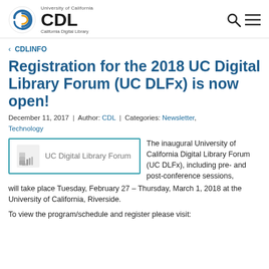[Figure (logo): California Digital Library (CDL) logo with UC swirl icon and text 'University of California', 'CDL', 'California Digital Library']
[Figure (other): Search (magnifying glass) and menu (hamburger) icons in top right]
< CDLINFO
Registration for the 2018 UC Digital Library Forum (UC DLFx) is now open!
December 11, 2017 | Author: CDL | Categories: Newsletter, Technology
[Figure (logo): UC Digital Library Forum logo in a teal-bordered box with stacked books icon and text 'UC Digital Library Forum']
The inaugural University of California Digital Library Forum (UC DLFx), including pre- and post-conference sessions, will take place Tuesday, February 27 – Thursday, March 1, 2018 at the University of California, Riverside.
To view the program/schedule and register please visit: